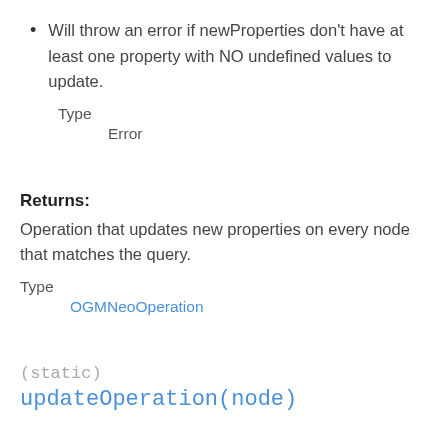Will throw an error if newProperties don't have at least one property with NO undefined values to update.
Type
Error
Returns:
Operation that updates new properties on every node that matches the query.
Type
OGMNeoOperation
(static)
updateOperation(node)